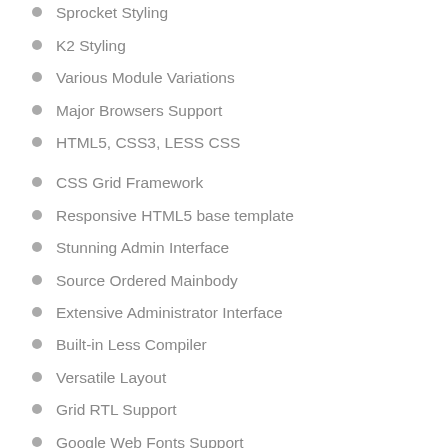Sprocket Styling
K2 Styling
Various Module Variations
Major Browsers Support
HTML5, CSS3, LESS CSS
CSS Grid Framework
Responsive HTML5 base template
Stunning Admin Interface
Source Ordered Mainbody
Extensive Administrator Interface
Built-in Less Compiler
Versatile Layout
Grid RTL Support
Google Web Fonts Support
Per Browser based CSS / JS control